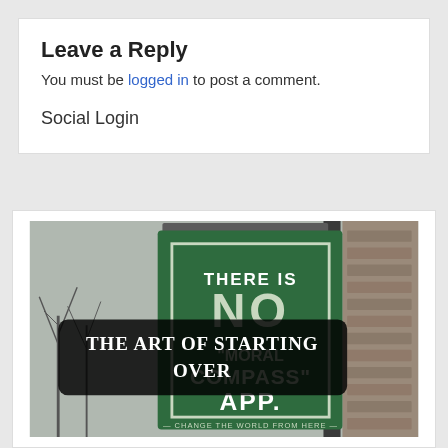Leave a Reply
You must be logged in to post a comment.
Social Login
[Figure (photo): Photo of a green hanging sign that reads 'THERE IS NO "MORAL COMPASS" APP. CHANGE THE WORLD FROM HERE' with an overlaid dark rounded rectangle containing the text 'THE ART OF STARTING OVER']